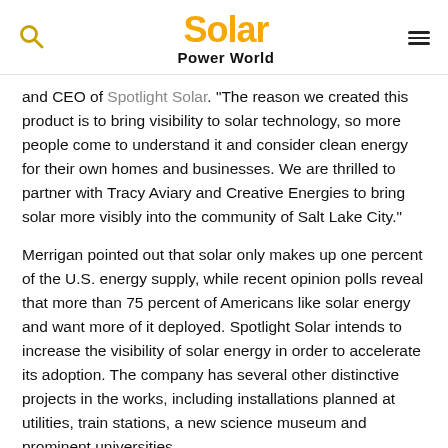Solar Power World
and CEO of Spotlight Solar. “The reason we created this product is to bring visibility to solar technology, so more people come to understand it and consider clean energy for their own homes and businesses. We are thrilled to partner with Tracy Aviary and Creative Energies to bring solar more visibly into the community of Salt Lake City.”
Merrigan pointed out that solar only makes up one percent of the U.S. energy supply, while recent opinion polls reveal that more than 75 percent of Americans like solar energy and want more of it deployed. Spotlight Solar intends to increase the visibility of solar energy in order to accelerate its adoption. The company has several other distinctive projects in the works, including installations planned at utilities, train stations, a new science museum and prominent universities.